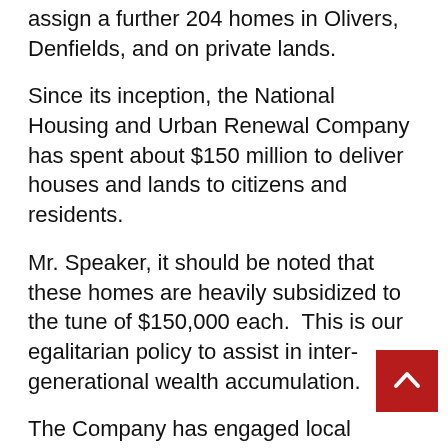assign a further 204 homes in Olivers, Denfields, and on private lands.
Since its inception, the National Housing and Urban Renewal Company has spent about $150 million to deliver houses and lands to citizens and residents.
Mr. Speaker, it should be noted that these homes are heavily subsidized to the tune of $150,000 each.  This is our egalitarian policy to assist in inter-generational wealth accumulation.
The Company has engaged local contractors to undertake work and paid in excess of $84 million for construction and related services.
Additionally, it provides permanent employment for nearly 300 persons.
There is also a high demand for land.